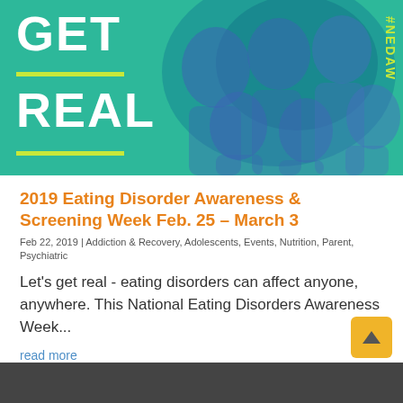[Figure (illustration): NEDA Awareness Week banner with teal/green background showing 'GET REAL' in large white bold text, yellow-green horizontal lines, #NEDAW hashtag vertically on right side, and a group of diverse smiling young people rendered in blue tones on the right half]
2019 Eating Disorder Awareness & Screening Week Feb. 25 – March 3
Feb 22, 2019 | Addiction & Recovery, Adolescents, Events, Nutrition, Parent, Psychiatric
Let's get real - eating disorders can affect anyone, anywhere. This National Eating Disorders Awareness Week...
read more
[Figure (photo): Bottom strip showing beginning of another article image in dark/grayscale tones]